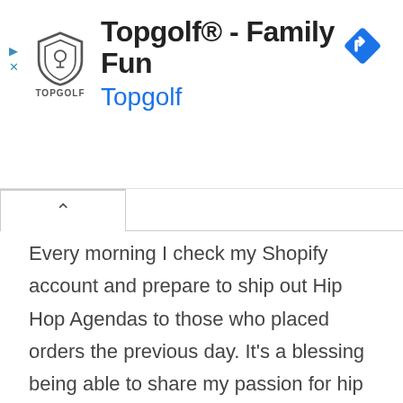[Figure (screenshot): Topgolf advertisement banner showing Topgolf shield logo, 'Topgolf® - Family Fun' title, 'Topgolf' subtitle in blue, and a blue navigation/direction diamond icon on the right. Small play and X icons on the left edge.]
Every morning I check my Shopify account and prepare to ship out Hip Hop Agendas to those who placed orders the previous day. It's a blessing being able to share my passion for hip hop history with others.
Once the orders are all prepared, I'll head out to the post office and pick up some lunch or coffee.
Then, back to my work space to check on